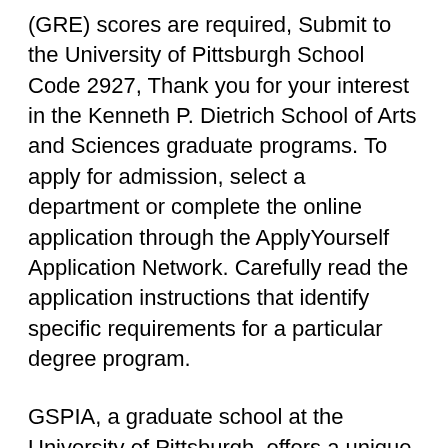(GRE) scores are required, Submit to the University of Pittsburgh School Code 2927, Thank you for your interest in the Kenneth P. Dietrich School of Arts and Sciences graduate programs. To apply for admission, select a department or complete the online application through the ApplyYourself Application Network. Carefully read the application instructions that identify specific requirements for a particular degree program.
GSPIA, a graduate school at the University of Pittsburgh, offers a unique diversity of academic programsвЂ"including public affairs, international affairs вЂ¦ University of